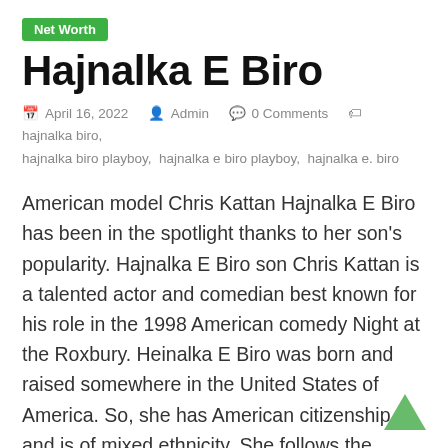Net Worth
Hajnalka E Biro
April 16, 2022  Admin  0 Comments  hajnalka biro, hajnalka biro playboy, hajnalka e biro playboy, hajnalka e. biro
American model Chris Kattan Hajnalka E Biro has been in the spotlight thanks to her son's popularity. Hajnalka E Biro son Chris Kattan is a talented actor and comedian best known for his role in the 1998 American comedy Night at the Roxbury. Heinalka E Biro was born and raised somewhere in the United States of America. So, she has American citizenship and is of mixed ethnicity. She follows the religion of Judaism. Regarding her education and qualifications, she is a well-educated someone. She graduated from a local school near her hometown. After that, she moved to university to complete her